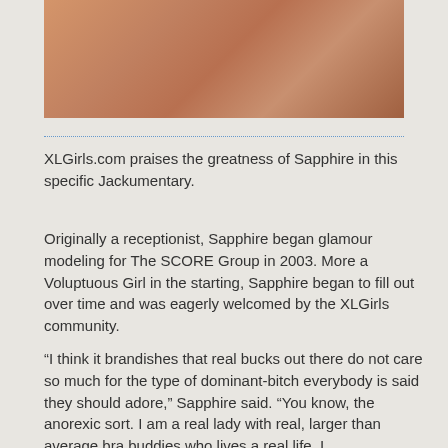[Figure (photo): Cropped photo of a woman]
XLGirls.com praises the greatness of Sapphire in this specific Jackumentary.
Originally a receptionist, Sapphire began glamour modeling for The SCORE Group in 2003. More a Voluptuous Girl in the starting, Sapphire began to fill out over time and was eagerly welcomed by the XLGirls community.
“I think it brandishes that real bucks out there do not care so much for the type of dominant-bitch everybody is said they should adore,” Sapphire said. “You know, the anorexic sort. I am a real lady with real, larger than average bra buddies who lives a real life. I